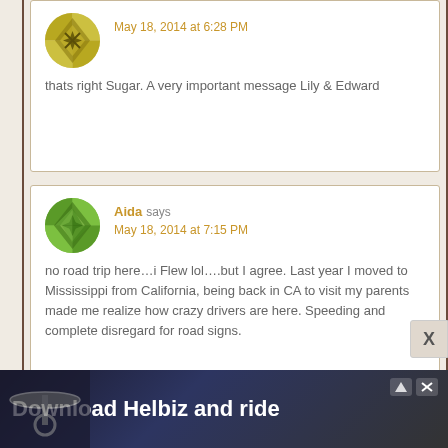[Figure (illustration): Quilt-pattern avatar icon in olive/gold colors, circular shape]
May 18, 2014 at 6:28 PM
thats right Sugar. A very important message Lily & Edward
[Figure (illustration): Quilt-pattern avatar icon in green colors, circular shape, for user Aida]
Aida says
May 18, 2014 at 7:15 PM
no road trip here…i Flew lol….but I agree. Last year I moved to Mississippi from California, being back in CA to visit my parents made me realize how crazy drivers are here. Speeding and complete disregard for road signs.
[Figure (photo): Advertisement banner: Download Helbiz and ride, showing bicycle handlebars]